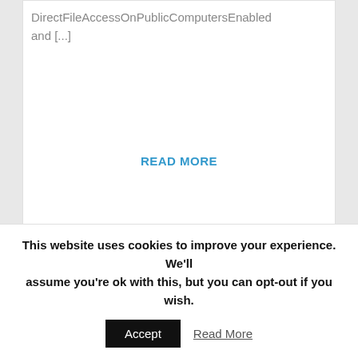DirectFileAccessOnPublicComputersEnabled
and [...]
READ MORE
[Figure (other): Social sharing icons row: Facebook (f), Twitter (bird), Google+ (g), LinkedIn (in), Tumblr (t) — each in a circle outline]
[Figure (photo): Circular avatar photo of a man in a blue jacket, smiling, indoors with a car visible in the background]
This website uses cookies to improve your experience. We'll assume you're ok with this, but you can opt-out if you wish.
Accept
Read More